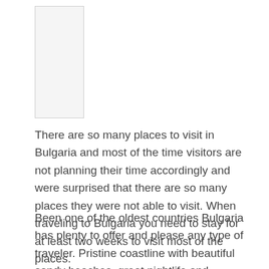[Figure (other): Placeholder image box at top left]
There are so many places to visit in Bulgaria and most of the time visitors are not planning their time accordingly and were surprised that there are so many places they were not able to visit. When traveling to Bulgaria you need to stay for at least two weeks to visit most of the places.
Been one of the oldest countries Bulgaria has plenty to offer and please any type of traveler. Pristine coastline with beautiful sandy beaches, great nightlife and entertainment, rich history and the astonishing view